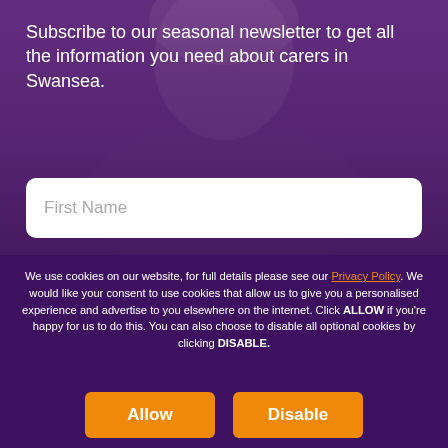Subscribe to our seasonal newsletter to get all the information you need about carers in Swansea.
First Name
We use cookies on our website, for full details please see our Privacy Policy. We would like your consent to use cookies that allow us to give you a personalised experience and advertise to you elsewhere on the internet. Click ALLOW if you're happy for us to do this. You can also choose to disable all optional cookies by clicking DISABLE.
Allow
Disable